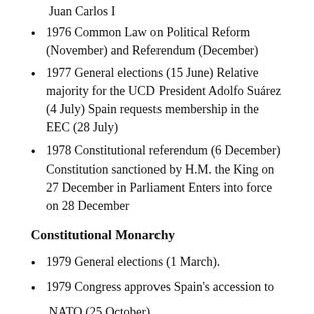Juan Carlos I
1976 Common Law on Political Reform (November) and Referendum (December)
1977 General elections (15 June) Relative majority for the UCD President Adolfo Suárez (4 July) Spain requests membership in the EEC (28 July)
1978 Constitutional referendum (6 December) Constitution sanctioned by H.M. the King on 27 December in Parliament Enters into force on 28 December
Constitutional Monarchy
1979 General elections (1 March).
1979 Congress approves Spain's accession to NATO (25 October).